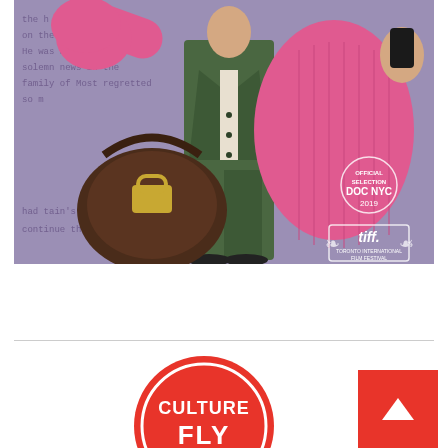[Figure (photo): Movie poster with purple background showing typewritten text, two people (one in green suit, one in bright pink oversized knit sweater) holding a large brown leather bag. Festival badges for DOC NYC 2019 and TIFF in bottom right.]
[Figure (logo): Culture Fly logo — red circular badge with white text reading CULTURE FLY]